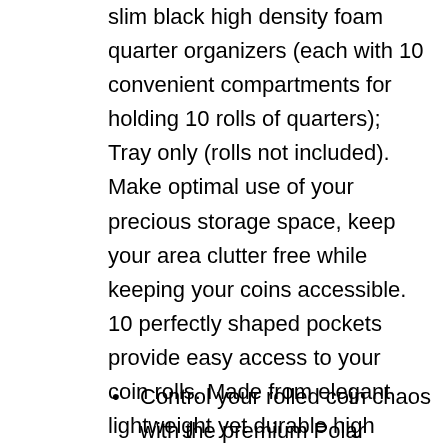slim black high density foam quarter organizers (each with 10 convenient compartments for holding 10 rolls of quarters); Tray only (rolls not included). Make optimal use of your precious storage space, keep your area clutter free while keeping your coins accessible. 10 perfectly shaped pockets provide easy access to your coin rolls. Made from elegant lightweight yet durable high density waterproof black foam material. Ideal for home or business, this beautiful organizer is non-slip, anti-rattle and super-easy to clean (rinse it off, or wash it in the top rack of your dishwasher). Measures approximately 3.9" x 15.1" x 1".
Control your rolled coin chaos with the premium Polar Whale Coin Organizer. Includes 4